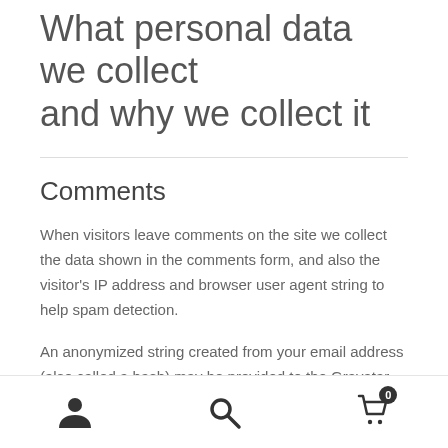What personal data we collect and why we collect it
Comments
When visitors leave comments on the site we collect the data shown in the comments form, and also the visitor's IP address and browser user agent string to help spam detection.
An anonymized string created from your email address (also called a hash) may be provided to the Gravatar service to see if you are using it. The Gravatar service privacy policy is available here: